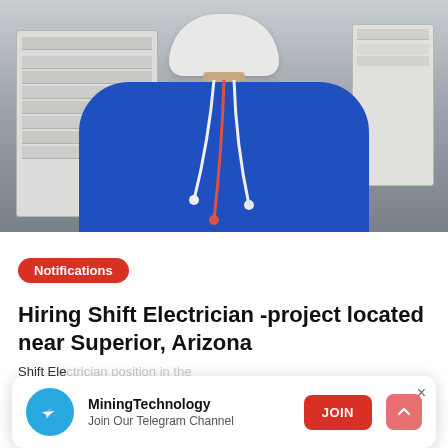[Figure (photo): Electrician viewed from behind, wearing blue work jacket and white hard hat, working at an electrical panel with wires/cables hanging from his back]
Notifications
Hiring Shift Electrician -project located near Superior, Arizona
Shift Ele... mining
⊙ May 2...
[Figure (screenshot): Telegram channel notification overlay showing MiningTechnology channel with JOIN button. Text: MiningTechnology, Join Our Telegram Channel, JOIN button, X close button, and scroll-up arrow button]